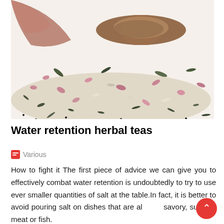[Figure (photo): Close-up photo of dried mixed herbal tea leaves and flowers being scooped with a wooden spoon, scattered on a white background.]
Water retention herbal teas
Various
How to fight it The first piece of advice we can give you to effectively combat water retention is undoubtedly to try to use ever smaller quantities of salt at the table.In fact, it is better to avoid pouring salt on dishes that are already savory, such as meat or fish.